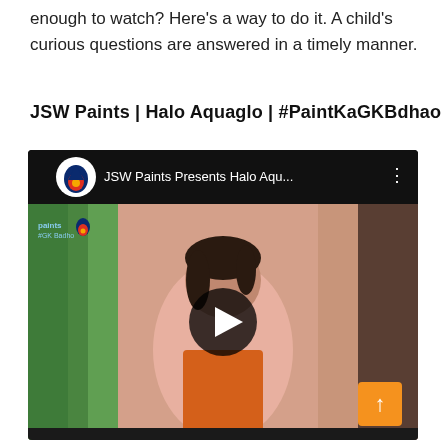enough to watch? Here's a way to do it. A child's curious questions are answered in a timely manner.
JSW Paints | Halo Aquaglo | #PaintKaGKBdhao
[Figure (screenshot): YouTube video embed thumbnail showing JSW Paints Presents Halo Aqu... with a woman in a pink jacket standing in front of painted walls, with a play button overlay. Logo and video header bar visible.]